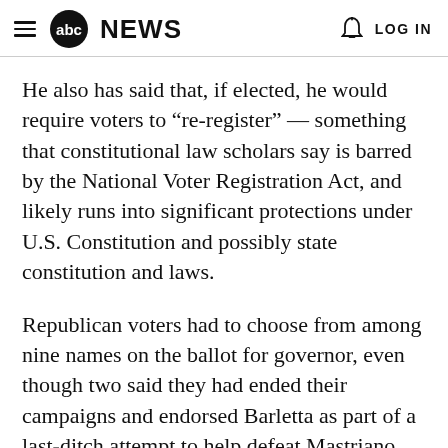abc NEWS  LOG IN
He also has said that, if elected, he would require voters to “re-register” — something that constitutional law scholars say is barred by the National Voter Registration Act, and likely runs into significant protections under U.S. Constitution and possibly state constitution and laws.
Republican voters had to choose from among nine names on the ballot for governor, even though two said they had ended their campaigns and endorsed Barletta as part of a last-ditch attempt to help defeat Mastriano.